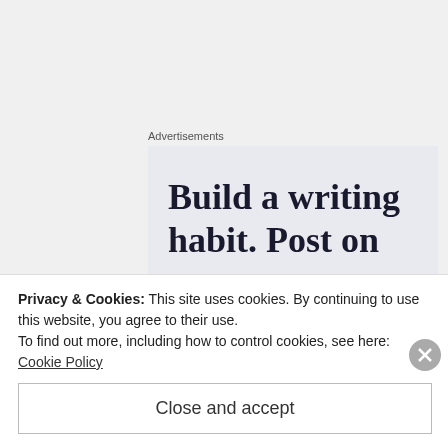Advertisements
[Figure (screenshot): Advertisement banner with text 'Build a writing habit. Post on' on light blue-grey background]
[Figure (photo): Circular avatar photo of author patfurstenberg — woman with dark hair outdoors with pink flowers and brick wall background]
patfurstenberg
APRIL 22, 2017 AT 10:46
Privacy & Cookies: This site uses cookies. By continuing to use this website, you agree to their use.
To find out more, including how to control cookies, see here: Cookie Policy
Close and accept